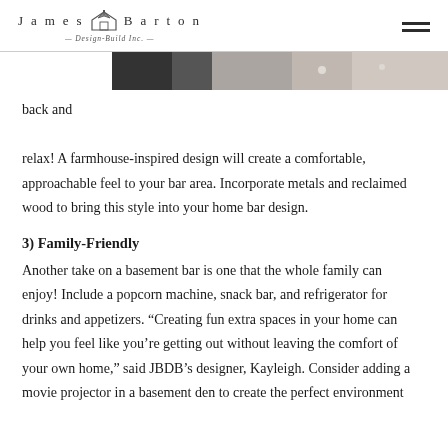James Barton Design-Build Inc.
[Figure (photo): Partial photo strip of a home bar or interior space, cropped at top]
back and relax! A farmhouse-inspired design will create a comfortable, approachable feel to your bar area. Incorporate metals and reclaimed wood to bring this style into your home bar design.
3) Family-Friendly
Another take on a basement bar is one that the whole family can enjoy! Include a popcorn machine, snack bar, and refrigerator for drinks and appetizers. “Creating fun extra spaces in your home can help you feel like you’re getting out without leaving the comfort of your own home,” said JBDB’s designer, Kayleigh. Consider adding a movie projector in a basement den to create the perfect environment